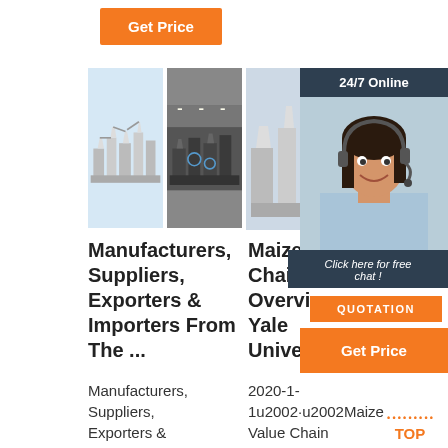[Figure (screenshot): Orange 'Get Price' button at top left]
[Figure (photo): Three images: industrial grain milling machines (light blue background), factory milling equipment (dark interior), and woman with headset for 24/7 online chat support]
Manufacturers, Suppliers, Exporters & Importers From The ...
Maize Value Chain Overview - Yale University
Manufacturers, Suppliers, Exporters &
2020-1-1u2002·u2002Maize Value Chain